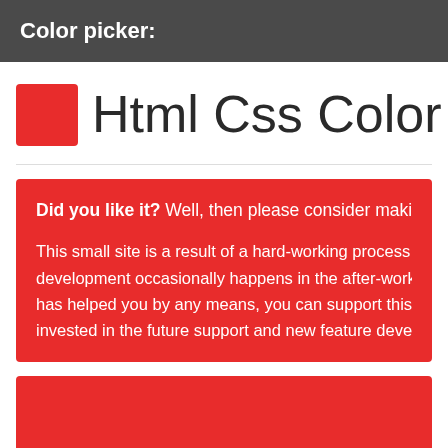Color picker:
Html Css Color HEX #FC
Did you like it? Well, then please consider making a d

This small site is a result of a hard-working process of one pe development occasionally happens in the after-work hours onl has helped you by any means, you can support this resource fi invested in the future support and new feature development. Th